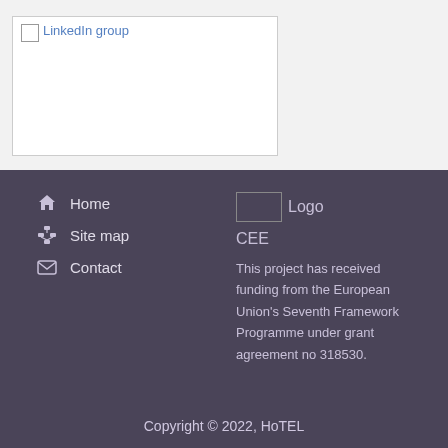[Figure (other): LinkedIn group placeholder image box with broken image icon and blue link text]
Home
Site map
Contact
[Figure (logo): Logo placeholder image]
CEE
This project has received funding from the European Union’s Seventh Framework Programme under grant agreement no 318530.
Copyright © 2022, HoTEL